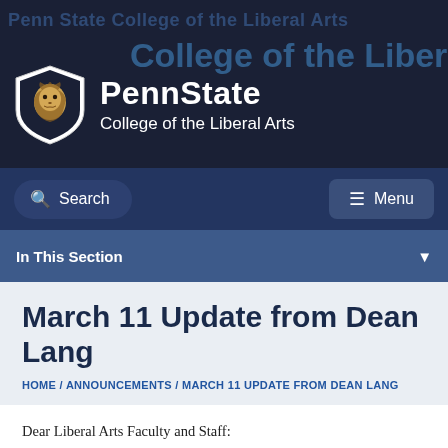Penn State College of the Liberal Arts
March 11 Update from Dean Lang
HOME / ANNOUNCEMENTS / MARCH 11 UPDATE FROM DEAN LANG
Dear Liberal Arts Faculty and Staff:
As we have recently learned, the University is moving to remote learning for all in-person classes, seminars, and labs beginning Monday, March 16, due to safety concerns about the potential